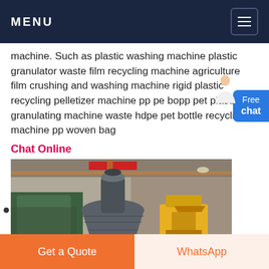MENU
machine. Such as plastic washing machine plastic granulator waste film recycling machine agriculture film crushing and washing machine rigid plastic recycling pelletizer machine pp pe bopp pet plastic film granulating machine waste hdpe pet bottle recycling machine pp woven bag
Chat Online
[Figure (photo): Industrial plastic recycling/granulating machine with large grey conical/cylindrical body in a factory setting, with yellow equipment visible to the right]
Get a Quote | WhatsApp